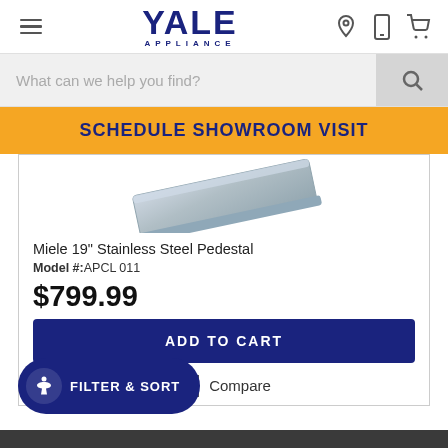[Figure (screenshot): Yale Appliance website header with logo, hamburger menu, location icon, phone icon, and cart icon]
What can we help you find?
SCHEDULE SHOWROOM VISIT
[Figure (photo): Miele 19 inch Stainless Steel Pedestal product image showing a metallic pedestal angled view]
Miele 19" Stainless Steel Pedestal
Model #: APCL 011
$799.99
ADD TO CART
Compare
FILTER & SORT